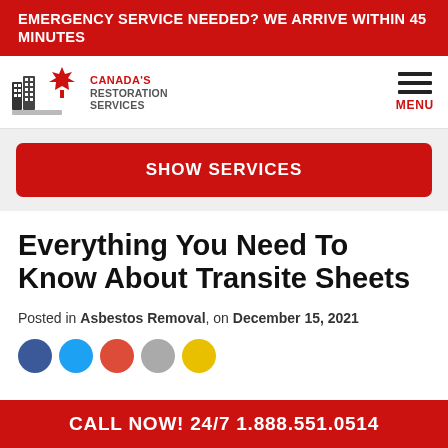EMERGENCY SERVICE NEEDED? WE ARRIVE WITHIN 45 MINUTES
[Figure (logo): Canada's Restoration Services logo with maple leaf and buildings]
SHOW SERVICES
Everything You Need To Know About Transite Sheets
Posted in Asbestos Removal, on December 15, 2021
CALL NOW! 24/7 1.888.551.0514